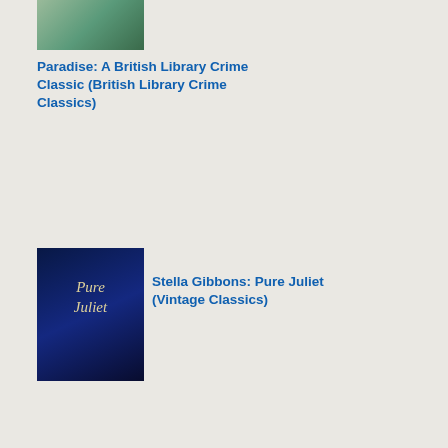[Figure (illustration): Book cover for Paradise: A British Library Crime Classic]
Paradise: A British Library Crime Classic (British Library Crime Classics)
[Figure (illustration): Book cover for Pure Juliet by Stella Gibbons]
Stella Gibbons: Pure Juliet (Vintage Classics)
[Figure (illustration): Book cover for Murder of a Lady by Anthony Wynne]
Anthony Wynne: Murder of a Lady (British Library Crime Classics)
[Figure (illustration): Book cover - partial, bottom of page]
sho eve tho acc to the blu this is a 'me writ of sin inte But as my kno of con ficti is